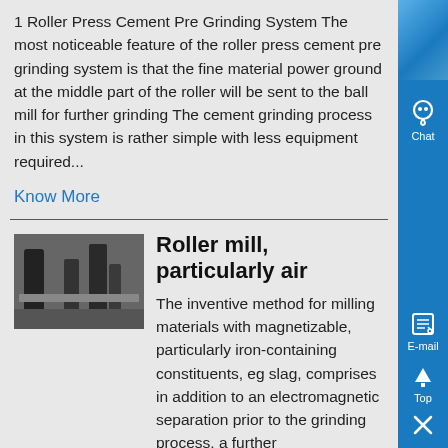1 Roller Press Cement Pre Grinding System The most noticeable feature of the roller press cement pre grinding system is that the fine material power ground at the middle part of the roller will be sent to the ball mill for further grinding The cement grinding process in this system is rather simple with less equipment required...
Know More
[Figure (photo): Thumbnail photo of roller mill machinery]
Roller mill, particularly air
The inventive method for milling materials with magnetizable, particularly iron-containing constituents, eg slag, comprises in addition to an electromagnetic separation prior to the grinding process, a further electromagnetic separation takes place in the grinding area of a roller mill, particularly an air-swept roller mill, in order to ....
Know More